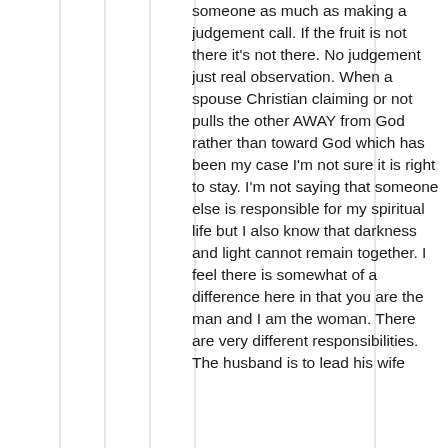someone as much as making a judgement call. If the fruit is not there it's not there. No judgement just real observation. When a spouse Christian claiming or not pulls the other AWAY from God rather than toward God which has been my case I'm not sure it is right to stay. I'm not saying that someone else is responsible for my spiritual life but I also know that darkness and light cannot remain together. I feel there is somewhat of a difference here in that you are the man and I am the woman. There are very different responsibilities. The husband is to lead his wife